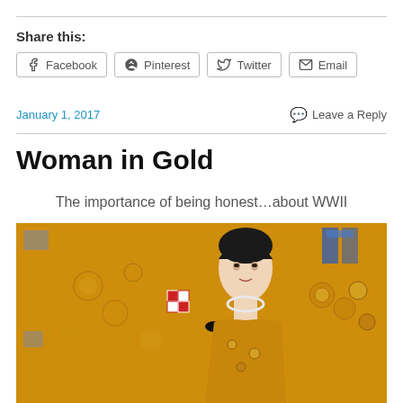Share this:
Facebook
Pinterest
Twitter
Email
January 1, 2017
Leave a Reply
Woman in Gold
The importance of being honest…about WWII
[Figure (photo): Painting of a woman against a golden ornate background, likely Klimt's Portrait of Adele Bloch-Bauer I]